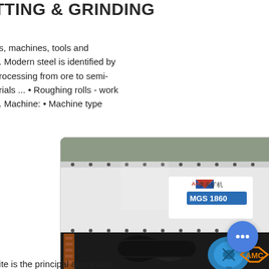TTING & GRINDING
es, machines, tools and
n. Modern steel is identified by
processing from ore to semi-
erials ... • Roughing rolls - work
... Machine: • Machine type
[Figure (photo): Photo of industrial mining/grinding machine labeled AHC 美炭矿机 MGS 1860, showing the machine body with bolted panels, springs, black pipes, and a blue electric motor. An orange AMC logo watermark is visible in the lower right corner.]
uite is the principal aluminium